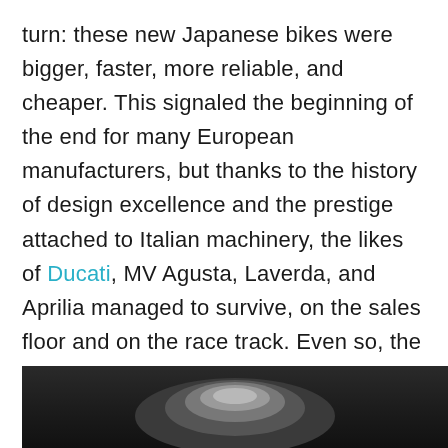turn: these new Japanese bikes were bigger, faster, more reliable, and cheaper. This signaled the beginning of the end for many European manufacturers, but thanks to the history of design excellence and the prestige attached to Italian machinery, the likes of Ducati, MV Agusta, Laverda, and Aprilia managed to survive, on the sales floor and on the race track. Even so, the European motorcycle industry took a hit that it would never recover from. Or could it?
[Figure (photo): Dark background photo showing a motorcycle or motorcycle component, partially visible at the bottom of the page]